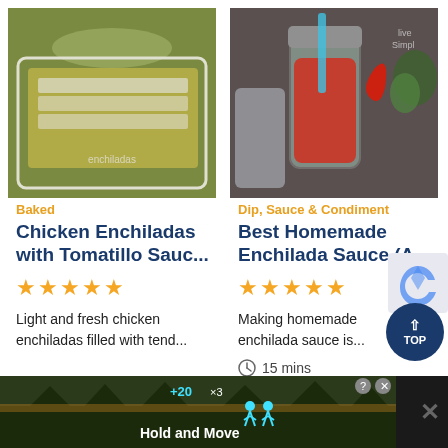[Figure (photo): Chicken enchiladas with tomatillo sauce on a white plate, topped with shredded cheese and lettuce]
[Figure (photo): A glass mason jar filled with red homemade enchilada sauce, with a red chili pepper, metal container, and green plant in background]
Baked
Dip, Sauce & Condiment
Chicken Enchiladas with Tomatillo Sauc...
Best Homemade Enchilada Sauce (A...
[Figure (other): Five gold star rating]
[Figure (other): Five gold star rating]
Light and fresh chicken enchiladas filled with tend...
Making homemade enchilada sauce is...
15 mins
[Figure (other): Dark blue circular TOP button with upward arrow]
[Figure (other): Partial reCAPTCHA logo]
[Figure (screenshot): Advertisement banner at bottom: Hold and Move game ad with +20, x3 indicators and close button]